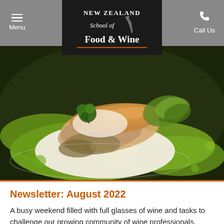Menu | New Zealand School of Food & Wine | Call Us
[Figure (photo): Close-up food photography of a pan-seared fish fillet plated on white cream sauce surrounded by vibrant green herb oil, garnished with fresh herbs and vegetables, served in a white bowl.]
Newsletter: August 2022
A busy weekend filled with full glasses of wine and tasks to challenge our growing community of wine professionals.
Read more >